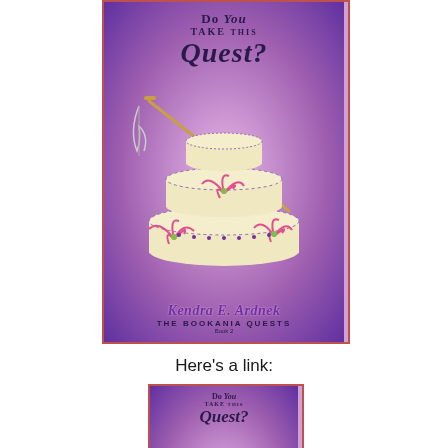[Figure (illustration): Book cover for 'Do You Take This Quest?' by Kendra E. Ardnek, The Bookania Quests Book 2. Purple gradient background with a tiered wedding cake decorated with pink lilies and a sword piercing through it. Large format cover image.]
Here's a link:
[Figure (illustration): Smaller version of the same book cover for 'Do You Take This Quest?' by Kendra E. Ardnek, The Bookania Quests Book 2. Purple gradient background with tiered wedding cake and sword.]